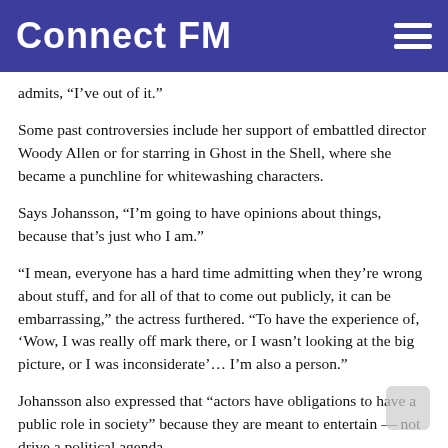Connect FM
admits, “I’ve out of it.”
Some past controversies include her support of embattled director Woody Allen or for starring in Ghost in the Shell, where she became a punchline for whitewashing characters.
Says Johansson, “I’m going to have opinions about things, because that’s just who I am.”
“I mean, everyone has a hard time admitting when they’re wrong about stuff, and for all of that to come out publicly, it can be embarrassing,” the actress furthered. “To have the experience of, ‘Wow, I was really off mark there, or I wasn’t looking at the big picture, or I was inconsiderate’… I’m also a person.”
Johansson also expressed that “actors have obligations to have a public role in society” because they are meant to entertain — not drive a political agenda.